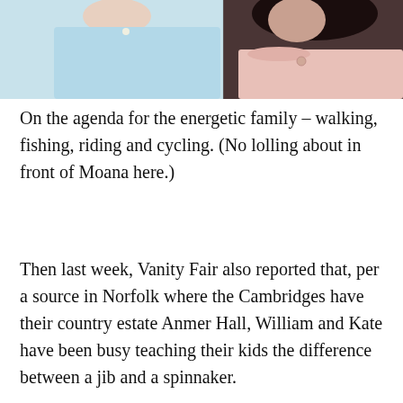[Figure (photo): Two women photographed together. The woman on the left wears a light blue dress; the woman on the right wears a pink off-shoulder outfit and has dark curly hair.]
On the agenda for the energetic family – walking, fishing, riding and cycling. (No lolling about in front of Moana here.)
Then last week, Vanity Fair also reported that, per a source in Norfolk where the Cambridges have their country estate Anmer Hall, William and Kate have been busy teaching their kids the difference between a jib and a spinnaker.